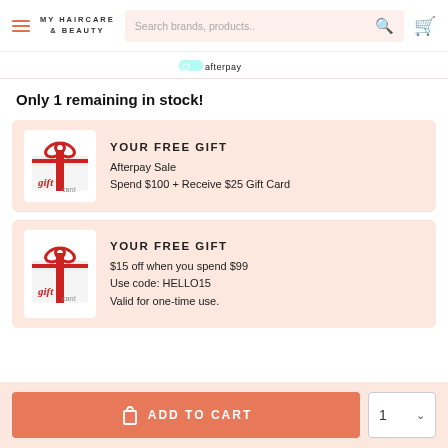MY HAIRCARE & BEAUTY — Search brands, products..
[Figure (logo): Afterpay logo partial strip]
Only 1 remaining in stock!
YOUR FREE GIFT
Afterpay Sale
Spend $100 + Receive $25 Gift Card
YOUR FREE GIFT
$15 off when you spend $99
Use code: HELLO15
Valid for one-time use.
ADD TO CART  1